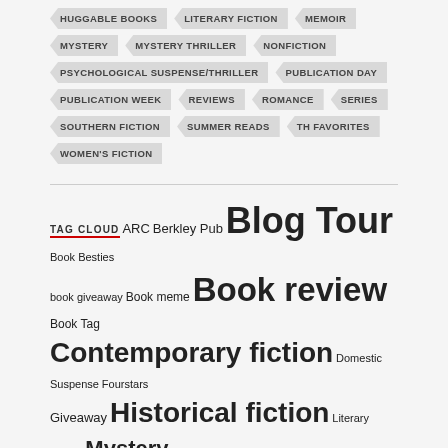HUGGABLE BOOKS
LITERARY FICTION
MEMOIR
MYSTERY
MYSTERY THRILLER
NONFICTION
PSYCHOLOGICAL SUSPENSE/THRILLER
PUBLICATION DAY
PUBLICATION WEEK
REVIEWS
ROMANCE
SERIES
SOUTHERN FICTION
SUMMER READS
TH FAVORITES
WOMEN'S FICTION
TAG CLOUD
ARC Berkley Pub Blog Tour Book Besties book giveaway Book meme Book review Book Tag Contemporary fiction Domestic Suspense Fourstars Giveaway Historical fiction Literary Fiction Mystery Mystery Thriller Netgalley Psychological Suspense Psychological suspense/thriller Series St Martin's Press Summer reads Suzy Approved TLC Book Tours Women's